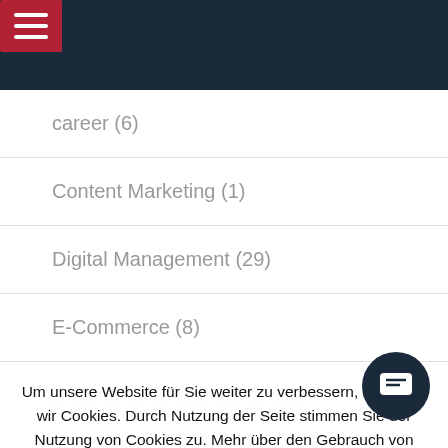[Figure (screenshot): Dark navy header bar with red hamburger menu button]
career (6)
Content Marketing (1)
Digital Management (29)
E-Commerce (8)
E-Commerce Marketing (20)
Entrepreneurship (13)
Um unsere Website für Sie weiter zu verbessern, benutzen wir Cookies. Durch Nutzung der Seite stimmen Sie der Nutzung von Cookies zu. Mehr über den Gebrauch von Cookies.
Reject   Read more